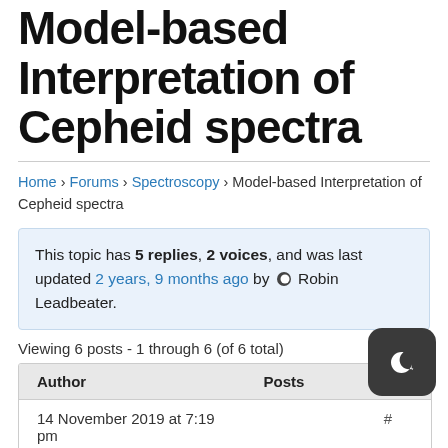Model-based Interpretation of Cepheid spectra
Home › Forums › Spectroscopy › Model-based Interpretation of Cepheid spectra
This topic has 5 replies, 2 voices, and was last updated 2 years, 9 months ago by Robin Leadbeater.
Viewing 6 posts - 1 through 6 (of 6 total)
| Author | Posts |
| --- | --- |
| 14 November 2019 at 7:19 pm | #... |
| Kevin Gurney |  |
[Figure (other): Dark mode toggle icon overlay in bottom right corner]